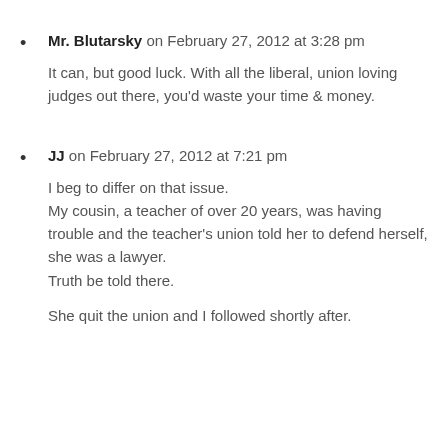Mr. Blutarsky on February 27, 2012 at 3:28 pm
It can, but good luck. With all the liberal, union loving judges out there, you'd waste your time & money.
JJ on February 27, 2012 at 7:21 pm
I beg to differ on that issue.
My cousin, a teacher of over 20 years, was having trouble and the teacher's union told her to defend herself, she was a lawyer.
Truth be told there.

She quit the union and I followed shortly after.